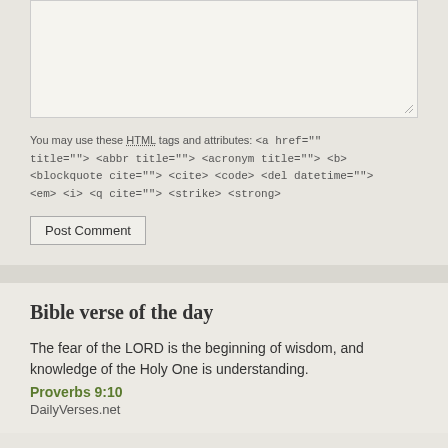[Figure (screenshot): Textarea input box with resize handle in bottom right corner]
You may use these HTML tags and attributes: <a href="" title=""> <abbr title=""> <acronym title=""> <b> <blockquote cite=""> <cite> <code> <del datetime=""> <em> <i> <q cite=""> <strike> <strong>
Post Comment
Bible verse of the day
The fear of the LORD is the beginning of wisdom, and knowledge of the Holy One is understanding.
Proverbs 9:10
DailyVerses.net